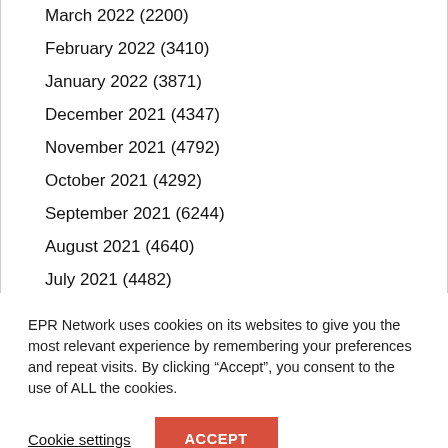March 2022 (2200)
February 2022 (3410)
January 2022 (3871)
December 2021 (4347)
November 2021 (4792)
October 2021 (4292)
September 2021 (6244)
August 2021 (4640)
July 2021 (4482)
June 2021 (4338)
May 2021 (4779)
April 2021 (6149)
March 2021 (9015)
EPR Network uses cookies on its websites to give you the most relevant experience by remembering your preferences and repeat visits. By clicking “Accept”, you consent to the use of ALL the cookies.
Cookie settings   ACCEPT